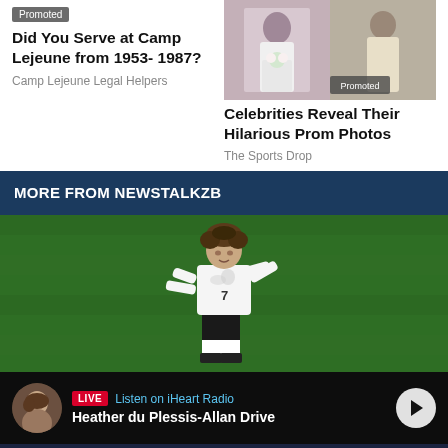Promoted
Did You Serve at Camp Lejeune from 1953- 1987?
Camp Lejeune Legal Helpers
[Figure (photo): Two women in formal/bridal attire, photo collage]
Promoted
Celebrities Reveal Their Hilarious Prom Photos
The Sports Drop
MORE FROM NEWSTALKZB
[Figure (photo): A soccer player wearing a white New Zealand jersey number 7 running on a green field]
LIVE  Listen on iHeart Radio
Heather du Plessis-Allan Drive
Home  Shows  Podcasts  News  Menu